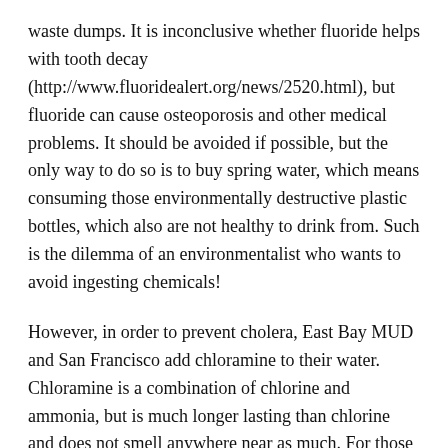waste dumps. It is inconclusive whether fluoride helps with tooth decay (http://www.fluoridealert.org/news/2520.html), but fluoride can cause osteoporosis and other medical problems. It should be avoided if possible, but the only way to do so is to buy spring water, which means consuming those environmentally destructive plastic bottles, which also are not healthy to drink from. Such is the dilemma of an environmentalist who wants to avoid ingesting chemicals!
However, in order to prevent cholera, East Bay MUD and San Francisco add chloramine to their water. Chloramine is a combination of chlorine and ammonia, but is much longer lasting than chlorine and does not smell anywhere near as much. For those who do not wish to ingest any more chemicals than we can reasonably avoid, filters that take the chloramine out of the water — they don't all do,